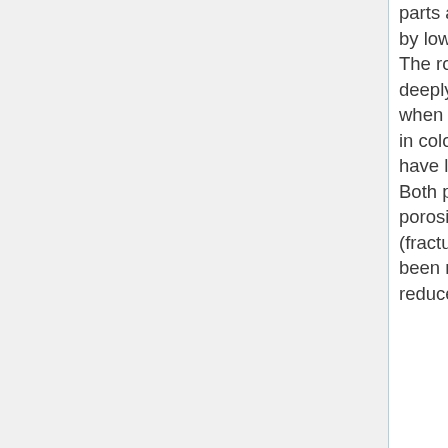parts are characterized by lower permeability. The rocks are typically deeply weathered, when they are reddish in colour, but generally have low permeability. Both primary (vesicle) porosity and secondary (fracture) porosity have been modified and reduced